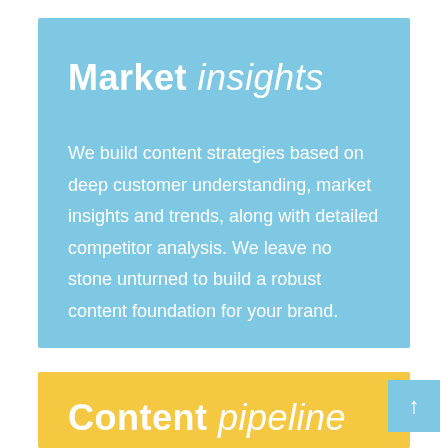Market insights
We build content strategies based on deep customer understanding, market insights and trends, along with detailed competitor analysis. We leave no stone unturned to build a robust content foundation for your brand.
Content pipeline